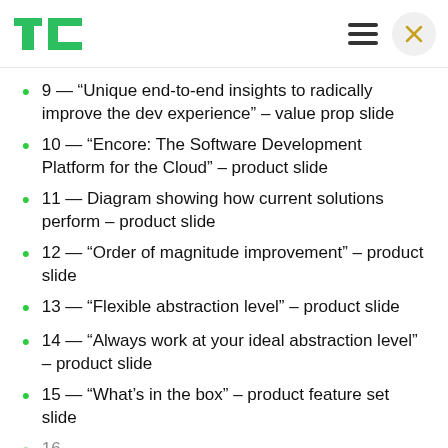TechCrunch header with logo, hamburger menu, and close button
9 — “Unique end-to-end insights to radically improve the dev experience” – value prop slide
10 — “Encore: The Software Development Platform for the Cloud” – product slide
11 — Diagram showing how current solutions perform – product slide
12 — “Order of magnitude improvement” – product slide
13 — “Flexible abstraction level” – product slide
14 — “Always work at your ideal abstraction level” – product slide
15 — “What’s in the box” – product feature set slide
16 — “Roadmap” – product roadmap slide (partially visible)